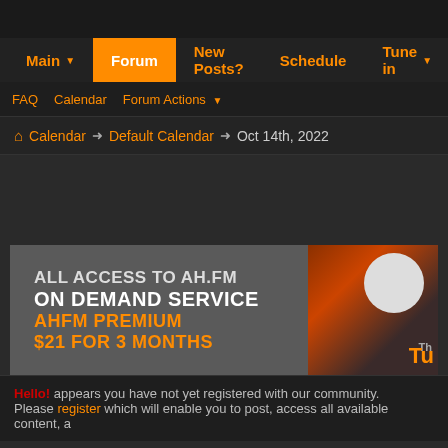Main | Forum | New Posts? | Schedule | Tune in
FAQ | Calendar | Forum Actions
Calendar → Default Calendar → Oct 14th, 2022
[Figure (infographic): AH.FM promotional banner: ALL ACCESS TO AH.FM / ON DEMAND SERVICE / AHFM PREMIUM / $21 FOR 3 MONTHS with DJ/turntable imagery on the right]
Hello! appears you have not yet registered with our community. Please register which will enable you to post, access all available content, a
Oct 14th, 2022